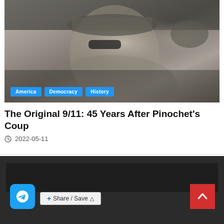[Figure (photo): Black and white photograph of a military officer in uniform wearing sunglasses, with another soldier visible in the background holding a weapon. Tags 'America', 'Democracy', 'History' overlaid at bottom left.]
The Original 9/11: 45 Years After Pinochet's Coup
2022-05-11
[Figure (screenshot): Dark website footer area with Telegram share button, Share/Save button, and a red scroll-to-top arrow button.]